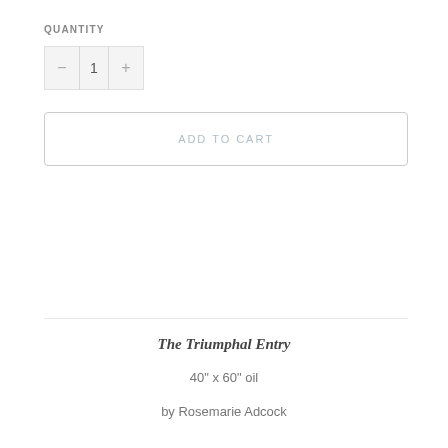QUANTITY
− 1 +
ADD TO CART
The Triumphal Entry
40" x 60" oil
by Rosemarie Adcock